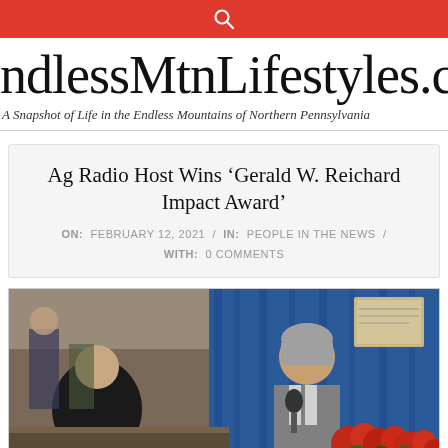EndlessMtnLifestyles.com — search bar header
ndlessMtnLifestyles.co
A Snapshot of Life in the Endless Mountains of Northern Pennsylvania
Ag Radio Host Wins 'Gerald W. Reichard Impact Award'
ON: FEBRUARY 12, 2021 / IN: PEOPLE IN THE NEWS / WITH: 0 COMMENTS
[Figure (photo): Two men in a room with blue curtain backdrop and red poinsettias, one speaking at a microphone]